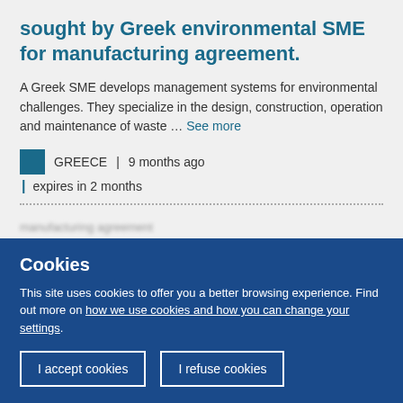sought by Greek environmental SME for manufacturing agreement.
A Greek SME develops management systems for environmental challenges. They specialize in the design, construction, operation and maintenance of waste ... See more
GREECE | 9 months ago | expires in 2 months
Cookies
This site uses cookies to offer you a better browsing experience. Find out more on how we use cookies and how you can change your settings.
I accept cookies  I refuse cookies